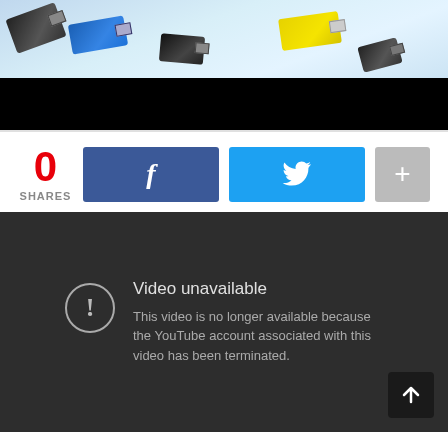[Figure (photo): Photo of colorful USB flash drives (black, blue, yellow) on a light blue background, with a black bar below the image area.]
0
SHARES
[Figure (screenshot): Social share buttons: Facebook (blue with f icon), Twitter (cyan with bird icon), and a gray plus button.]
[Figure (screenshot): YouTube video unavailable error screen on dark background. Shows warning icon with text: 'Video unavailable. This video is no longer available because the YouTube account associated with this video has been terminated.']